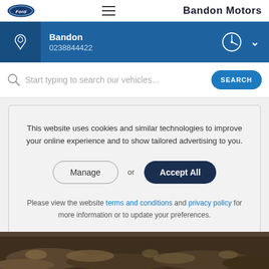Bandon Motors
Bandon
0238844422
Start typing to search our vehicles...
This website uses cookies and similar technologies to improve your online experience and to show tailored advertising to you.
Manage or Accept All
Please view the website terms and conditions and privacy policy for more information or to update your preferences.
[Figure (photo): Landscape outdoor photo showing dark heathland vegetation at bottom of page]